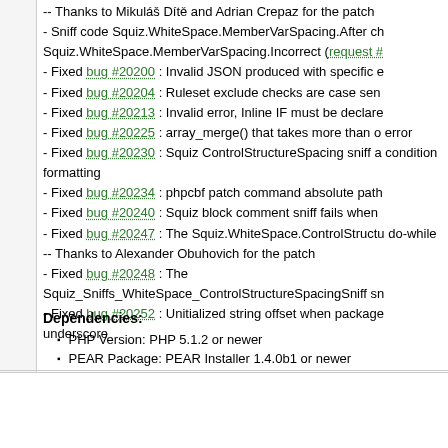-- Thanks to Mikuláš Dítě and Adrian Crepaz for the patch
- Sniff code Squiz.WhiteSpace.MemberVarSpacing.After changed to Squiz.WhiteSpace.MemberVarSpacing.Incorrect (request #...)
- Fixed bug #20200 : Invalid JSON produced with specific e
- Fixed bug #20204 : Ruleset exclude checks are case sen
- Fixed bug #20213 : Invalid error, Inline IF must be declare
- Fixed bug #20225 : array_merge() that takes more than o error
- Fixed bug #20230 : Squiz ControlStructureSpacing sniff a condition formatting
- Fixed bug #20234 : phpcbf patch command absolute path
- Fixed bug #20240 : Squiz block comment sniff fails when
- Fixed bug #20247 : The Squiz.WhiteSpace.ControlStructu do-while
-- Thanks to Alexander Obuhovich for the patch
- Fixed bug #20248 : The Squiz_Sniffs_WhiteSpace_ControlStructureSpacingSniff sn
- Fixed bug #20252 : Unitialized string offset when package underscore
Dependencies:
PHP Version: PHP 5.1.2 or newer
PEAR Package: PEAR Installer 1.4.0b1 or newer
1.5.3
Easy Install
Not sure? Get more info
pear install PHP_CodeSniffer-1_5_3